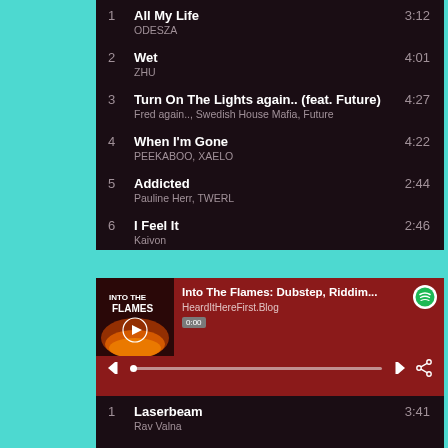1  All My Life  3:12
ODESZA
2  Wet  4:01
ZHU
3  Turn On The Lights again.. (feat. Future)  4:27
Fred again.., Swedish House Mafia, Future
4  When I'm Gone  4:22
PEEKABOO, XAELO
5  Addicted  2:44
Pauline Herr, TWERL
6  I Feel It  2:46
Kaivon
[Figure (screenshot): Spotify player showing 'Into The Flames: Dubstep, Riddim...' playlist by HeardItHereFirst.Blog with album art, playback controls, progress bar at 0:00]
1  Laserbeam  3:41
Rav Valna